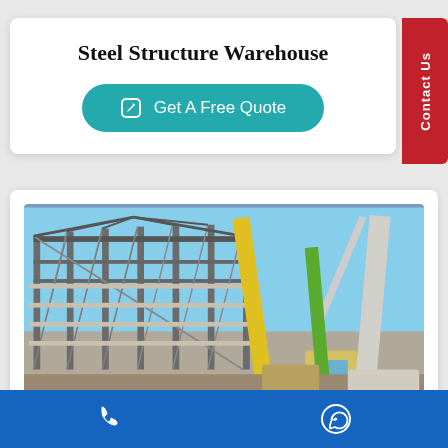Steel Structure Warehouse
Get A Free Quote
[Figure (photo): Construction site showing a large steel structure warehouse being built with cranes lifting beams against a blue sky]
Contact Us